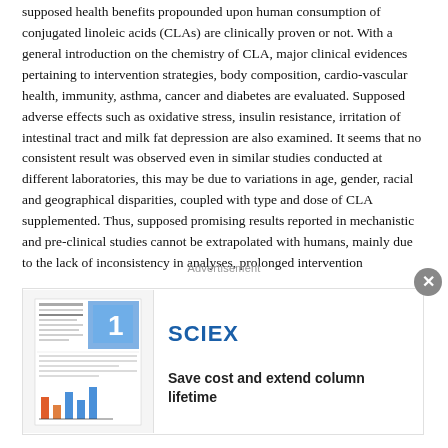supposed health benefits propounded upon human consumption of conjugated linoleic acids (CLAs) are clinically proven or not. With a general introduction on the chemistry of CLA, major clinical evidences pertaining to intervention strategies, body composition, cardio-vascular health, immunity, asthma, cancer and diabetes are evaluated. Supposed adverse effects such as oxidative stress, insulin resistance, irritation of intestinal tract and milk fat depression are also examined. It seems that no consistent result was observed even in similar studies conducted at different laboratories, this may be due to variations in age, gender, racial and geographical disparities, coupled with type and dose of CLA supplemented. Thus, supposed promising results reported in mechanistic and pre-clinical studies cannot be extrapolated with humans, mainly due to the lack of inconsistency in analyses, prolonged intervention
[Figure (other): Advertisement banner for SCIEX featuring a mini document/report image on the left and SCIEX logo with tagline 'Save cost and extend column lifetime' on the right. A close (X) button appears in the top-right corner of the ad overlay.]